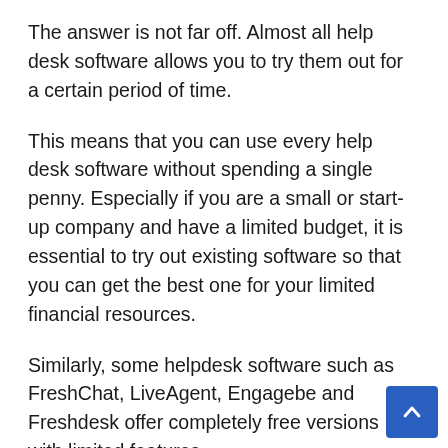The answer is not far off. Almost all help desk software allows you to try them out for a certain period of time.
This means that you can use every help desk software without spending a single penny. Especially if you are a small or start-up company and have a limited budget, it is essential to try out existing software so that you can get the best one for your limited financial resources.
Similarly, some helpdesk software such as FreshChat, LiveAgent, Engagebe and Freshdesk offer completely free versions with limited features.